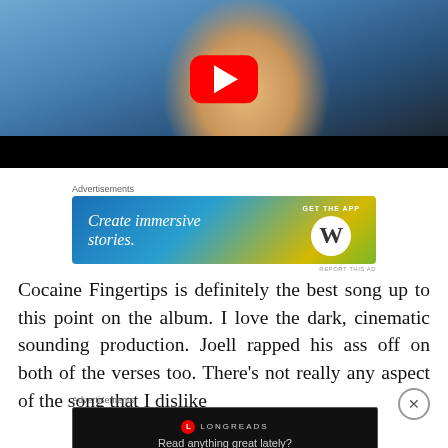[Figure (screenshot): YouTube video thumbnail showing a man in a floral shirt with a YouTube play button overlay and black control bar at bottom]
Advertisements
[Figure (screenshot): Advertisement banner: 'Create immersive stories. GET THE APP' with WordPress logo, gradient blue-green-yellow background]
REPORT THIS AD
Cocaine Fingertips is definitely the best song up to this point on the album. I love the dark, cinematic sounding production. Joell rapped his ass off on both of the verses too. There's not really any aspect of the song that I dislike
Advertisements
[Figure (screenshot): Longreads advertisement: dark background with Longreads logo and tagline 'Read anything great lately?']